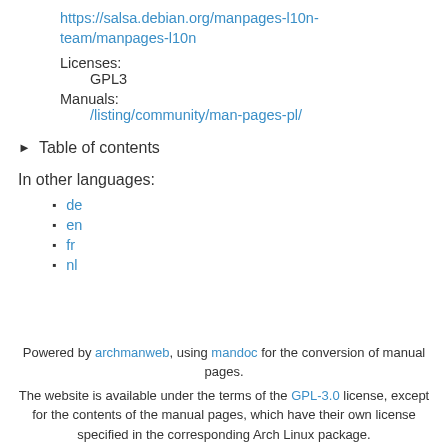https://salsa.debian.org/manpages-l10n-team/manpages-l10n
Licenses:
GPL3
Manuals:
/listing/community/man-pages-pl/
▶ Table of contents
In other languages:
de
en
fr
nl
Powered by archmanweb, using mandoc for the conversion of manual pages.
The website is available under the terms of the GPL-3.0 license, except for the contents of the manual pages, which have their own license specified in the corresponding Arch Linux package.